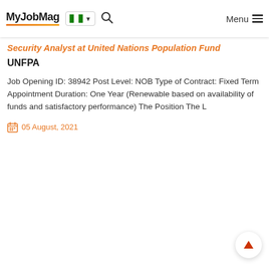MyJobMag — Menu
Security Analyst at United Nations Population Fund UNFPA
Job Opening ID: 38942 Post Level: NOB Type of Contract: Fixed Term Appointment Duration: One Year (Renewable based on availability of funds and satisfactory performance) The Position The L
05 August, 2021